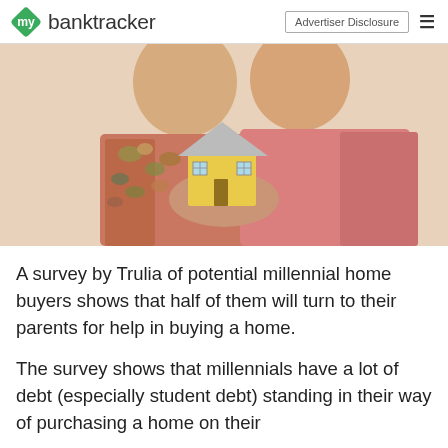mybanktracker | Advertiser Disclosure
[Figure (photo): An older couple smiling and holding a small model yellow house together. The man wears a colorful floral shirt and the woman wears a pink top with glasses.]
A survey by Trulia of potential millennial home buyers shows that half of them will turn to their parents for help in buying a home.
The survey shows that millennials have a lot of debt (especially student debt) standing in their way of purchasing a home on their